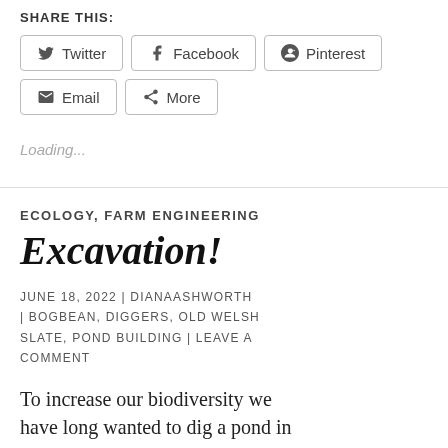SHARE THIS:
[Figure (other): Social share buttons: Twitter, Facebook, Pinterest, Email, More]
Loading...
ECOLOGY, FARM ENGINEERING
Excavation!
JUNE 18, 2022 | DIANAASHWORTH | BOGBEAN, DIGGERS, OLD WELSH SLATE, POND BUILDING | LEAVE A COMMENT
To increase our biodiversity we have long wanted to dig a pond in